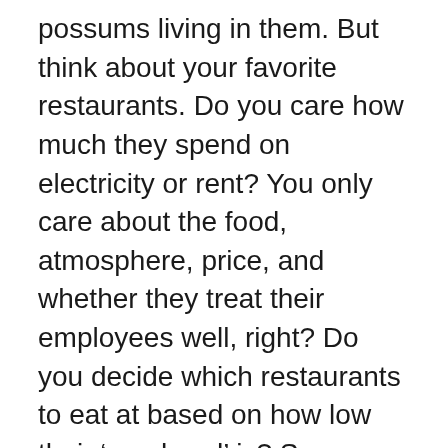possums living in them. But think about your favorite restaurants. Do you care how much they spend on electricity or rent? You only care about the food, atmosphere, price, and whether they treat their employees well, right? Do you decide which restaurants to eat at based on how low their 'overhead' is? Same goes for nonprofits. Focus on the quality of their programs, and the value they add to the community. The more you focus on overhead, the more you force them to waste their time trying to reduce costs to dangerous levels instead of developing strong programs. And since there's not a standard definition of what constitutes